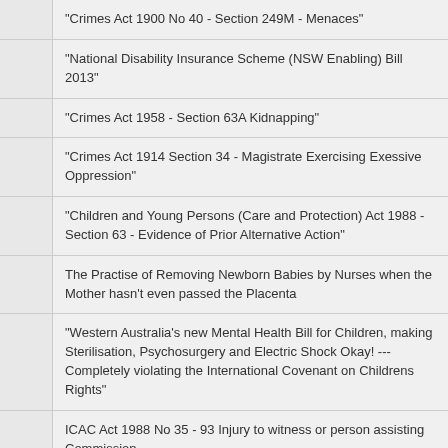"Crimes Act 1900 No 40 - Section 249M - Menaces"
"National Disability Insurance Scheme (NSW Enabling) Bill 2013"
"Crimes Act 1958 - Section 63A Kidnapping"
"Crimes Act 1914 Section 34 - Magistrate Exercising Exessive Oppression"
"Children and Young Persons (Care and Protection) Act 1988 - Section 63 - Evidence of Prior Alternative Action"
The Practise of Removing Newborn Babies by Nurses when the Mother hasn't even passed the Placenta
"Western Australia's new Mental Health Bill for Children, making Sterilisation, Psychosurgery and Electric Shock Okay! --- Completely violating the International Covenant on Childrens Rights"
ICAC Act 1988 No 35 - 93 Injury to witness or person assisting Commission
"Cartel Provisions - Competition and Consumer Act 2010 - Section 44ZZRD "
" Crimes Act 1900 No 40 - Section 545B- Intimidation or